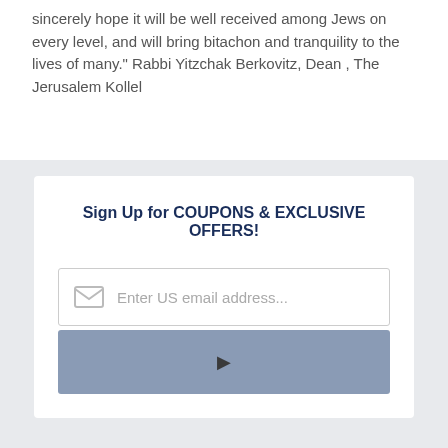sincerely hope it will be well received among Jews on every level, and will bring bitachon and tranquility to the lives of many." Rabbi Yitzchak Berkovitz, Dean , The Jerusalem Kollel
Sign Up for COUPONS & EXCLUSIVE OFFERS!
[Figure (screenshot): Email signup form with an email input field showing placeholder text 'Enter US email address...' with an envelope icon, and a grey submit button with a play arrow icon.]